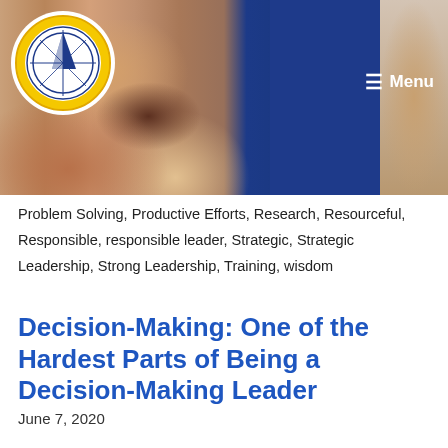[Figure (photo): Website header banner showing interlocked hands of diverse people, with a blue rectangle on the right side, a circular sailboat logo in the top left corner, and a Menu button in the top right.]
Problem Solving, Productive Efforts, Research, Resourceful, Responsible, responsible leader, Strategic, Strategic Leadership, Strong Leadership, Training, wisdom
Decision-Making: One of the Hardest Parts of Being a Decision-Making Leader
June 7, 2020
Most leaders will admit that one of the toughest...